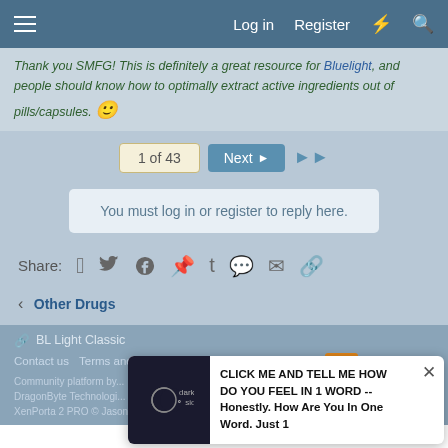Log in  Register
Thank you SMFG! This is definitely a great resource for Bluelight, and people should know how to optimally extract active ingredients out of pills/capsules. 🙂
1 of 43  Next  ▶▶
You must log in or register to reply here.
Share:  Facebook  Twitter  Reddit  Pinterest  Tumblr  WhatsApp  Email  Link
< Other Drugs
🔗 BL Light Classic
Contact us  Terms and rules  Privacy policy  Help  Home  RSS
Community platform by... Parts of this site powered by... DragonByte Technologies | Add-ons by ThemeHou... XenPorta 2 PRO © Jason Axelrod of 8WATRON
CLICK ME AND TELL ME HOW DO YOU FEEL IN 1 WORD -- Honestly. How Are You In One Word. Just 1